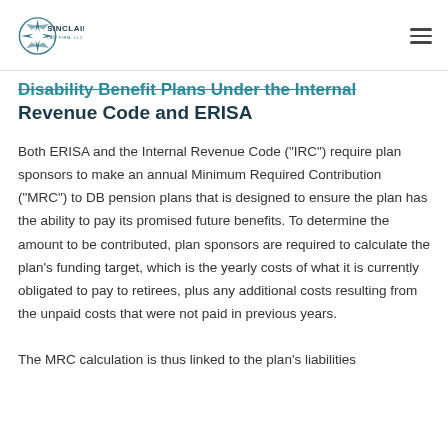Sinclair Law Firm, LLC
Disability Benefit Plans Under the Internal Revenue Code and ERISA
Both ERISA and the Internal Revenue Code (“IRC”) require plan sponsors to make an annual Minimum Required Contribution (“MRC”) to DB pension plans that is designed to ensure the plan has the ability to pay its promised future benefits. To determine the amount to be contributed, plan sponsors are required to calculate the plan’s funding target, which is the yearly costs of what it is currently obligated to pay to retirees, plus any additional costs resulting from the unpaid costs that were not paid in previous years.
The MRC calculation is thus linked to the plan’s liabilities